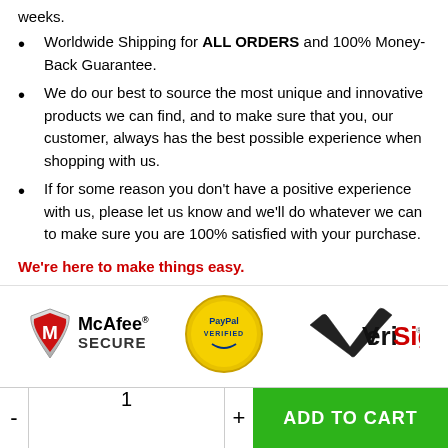weeks.
Worldwide Shipping for ALL ORDERS and 100% Money-Back Guarantee.
We do our best to source the most unique and innovative products we can find, and to make sure that you, our customer, always has the best possible experience when shopping with us.
If for some reason you don't have a positive experience with us, please let us know and we'll do whatever we can to make sure you are 100% satisfied with your purchase.
We're here to make things easy.
[Figure (logo): Trust badges row: McAfee SECURE, PayPal VERIFIED, VeriSign logos]
- 1 + ADD TO CART